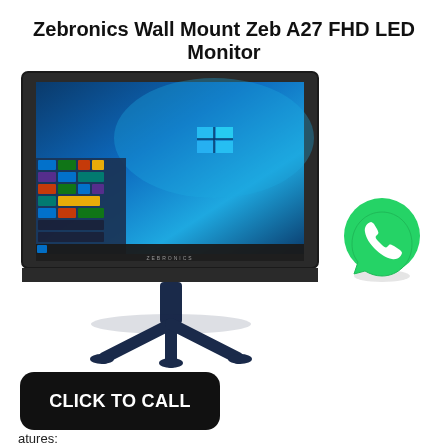Zebronics Wall Mount Zeb A27 FHD LED Monitor
[Figure (photo): Zebronics Zeb A27 FHD LED monitor with dark bezel, Windows 10 desktop displayed on screen, blue stand with tripod base.]
[Figure (logo): WhatsApp logo — green circle with white phone handset icon and speech bubble shape.]
CLICK TO CALL
atures: